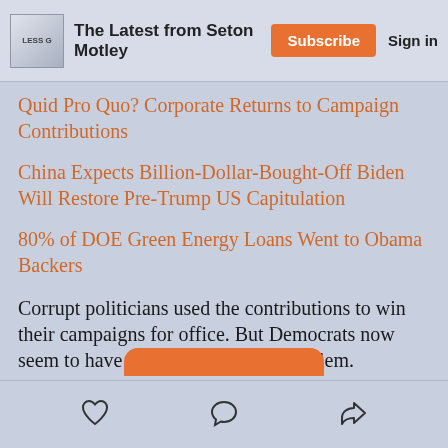The Latest from Seton Motley | Subscribe | Sign in
Quid Pro Quo? Corporate Returns to Campaign Contributions
China Expects Billion-Dollar-Bought-Off Biden Will Restore Pre-Trump US Capitulation
80% of DOE Green Energy Loans Went to Obama Backers
Corrupt politicians used the contributions to win their campaigns for office. But Democrats now seem to have solved the election problem.
Like | Comment | Share